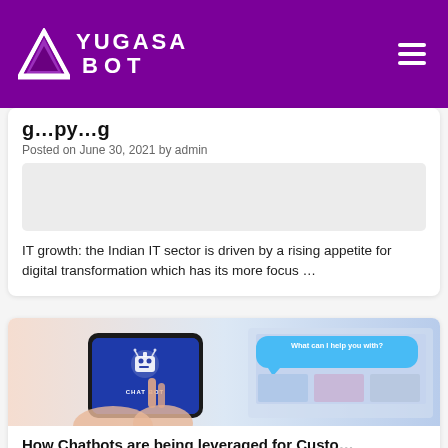YUGASA BOT
g…y…g (partial clipped title)
Posted on June 30, 2021 by admin
IT growth: the Indian IT sector is driven by a rising appetite for digital transformation which has its more focus …
[Figure (photo): Photo of person holding smartphone with chatbot app open showing robot icon and 'CHAT BOT' text, with laptop in background showing 'What can I help you with?' chat bubble]
How Chatbots are being leveraged for Custo…